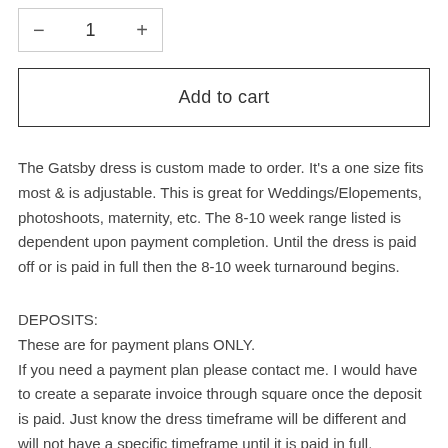[Figure (other): Quantity selector with minus button, number 1, and plus button inside a bordered box]
Add to cart
The Gatsby dress is custom made to order. It's a one size fits most & is adjustable. This is great for Weddings/Elopements, photoshoots, maternity, etc. The 8-10 week range listed is dependent upon payment completion. Until the dress is paid off or is paid in full then the 8-10 week turnaround begins.
DEPOSITS:
These are for payment plans ONLY.
If you need a payment plan please contact me. I would have to create a separate invoice through square once the deposit is paid. Just know the dress timeframe will be different and will not have a specific timeframe until it is paid in full.